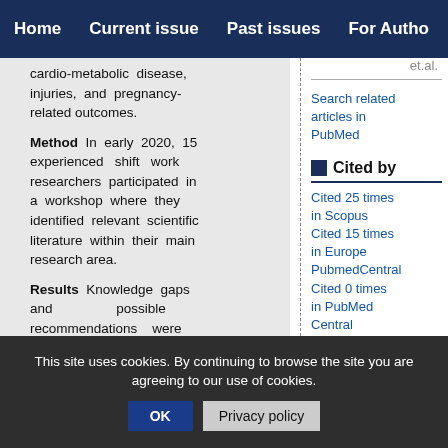Home | Current issue | Past issues | For Authors
cardio-metabolic disease, injuries, and pregnancy-related outcomes.
Method In early 2020, 15 experienced shift work researchers participated in a workshop where they identified relevant scientific literature within their main research area.
Results Knowledge gaps and possible recommendations were discussed based on the current evidence. The consensus was that
et.al.
Search related articles in PubMed
Cited by
Cited 25 times in Scopus
Cited 15 times in Europe PubmedCentral
Cited 0 times in PubMed Central
Search
This site uses cookies. By continuing to browse the site you are agreeing to our use of cookies.